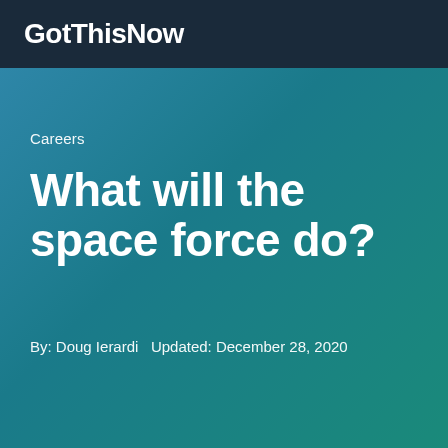GotThisNow
Careers
What will the space force do?
By: Doug Ierardi   Updated: December 28, 2020